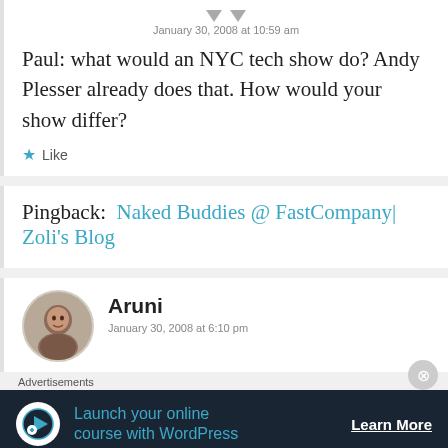January 30, 2008 at 10:59 am
Paul: what would an NYC tech show do? Andy Plesser already does that. How would your show differ?
Like
Pingback: Naked Buddies @ FastCompany| Zoli's Blog
Aruni
January 30, 2008 at 6:10 pm
Advertisements
Launch your online course with WordPress
Learn More